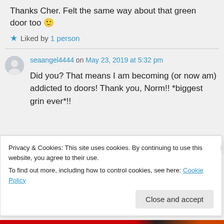Thanks Cher. Felt the same way about that green door too 🙂
★ Liked by 1 person
seaangel4444 on May 23, 2019 at 5:32 pm
Did you? That means I am becoming (or now am) addicted to doors! Thank you, Norm!! *biggest grin ever*!!
Privacy & Cookies: This site uses cookies. By continuing to use this website, you agree to their use.
To find out more, including how to control cookies, see here: Cookie Policy
Close and accept